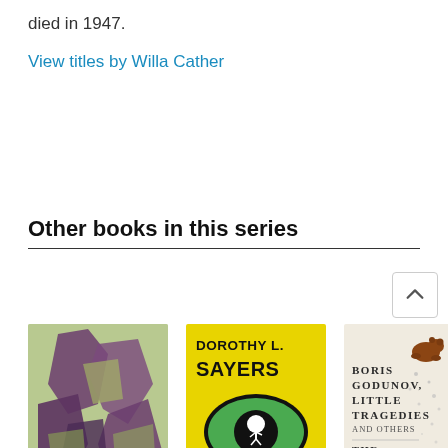died in 1947.
View titles by Willa Cather
Other books in this series
[Figure (illustration): Three book covers shown in a horizontal row. First: 'GOD'S' with a green and purple illustrated cover showing figures. Second: Dorothy L. Sayers 'CLOUDS OF' with a bright yellow cover and a large green eye graphic. Third: 'BORIS GODUNOV, LITTLE TRAGEDIES AND OTHERS / THE COMPLETE PLAYS' by ALEXANDER PUSHKIN on a cream/off-white cover with small bear illustration. A scroll-up arrow button is visible in the top right of the books section.]